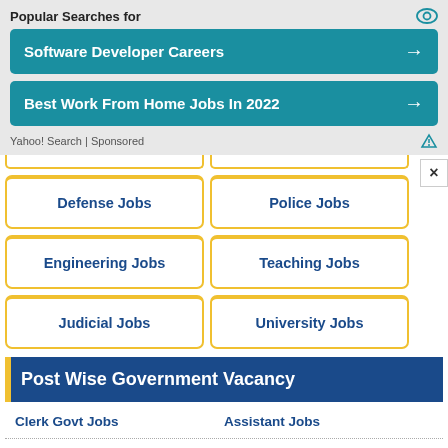Popular Searches for
[Figure (screenshot): Ad banner: Software Developer Careers button (teal)]
[Figure (screenshot): Ad banner: Best Work From Home Jobs In 2022 button (teal)]
Yahoo! Search | Sponsored
Defense Jobs
Police Jobs
Engineering Jobs
Teaching Jobs
Judicial Jobs
University Jobs
Post Wise Government Vacancy
Clerk Govt Jobs
Assistant Jobs
Driver Govt Jobs
Technician Jobs